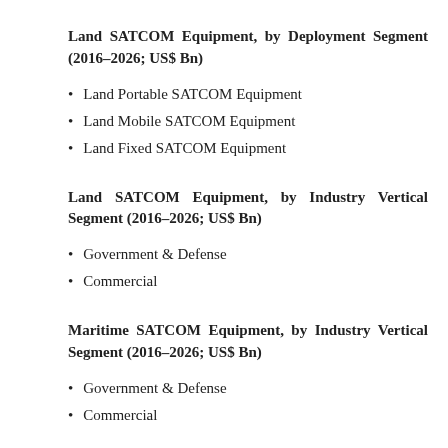Land SATCOM Equipment, by Deployment Segment (2016–2026; US$ Bn)
Land Portable SATCOM Equipment
Land Mobile SATCOM Equipment
Land Fixed SATCOM Equipment
Land SATCOM Equipment, by Industry Vertical Segment (2016–2026; US$ Bn)
Government & Defense
Commercial
Maritime SATCOM Equipment, by Industry Vertical Segment (2016–2026; US$ Bn)
Government & Defense
Commercial